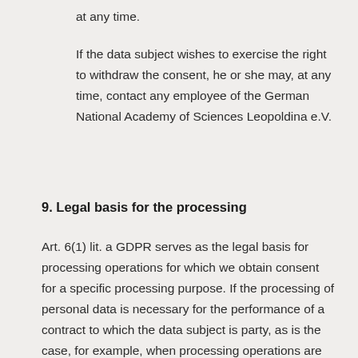at any time.
If the data subject wishes to exercise the right to withdraw the consent, he or she may, at any time, contact any employee of the German National Academy of Sciences Leopoldina e.V.
9. Legal basis for the processing
Art. 6(1) lit. a GDPR serves as the legal basis for processing operations for which we obtain consent for a specific processing purpose. If the processing of personal data is necessary for the performance of a contract to which the data subject is party, as is the case, for example, when processing operations are